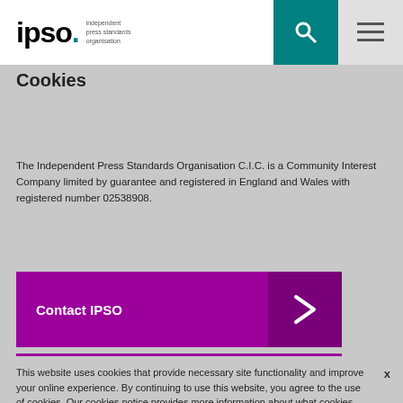ipso. independent press standards organisation
Cookies
The Independent Press Standards Organisation C.I.C. is a Community Interest Company limited by guarantee and registered in England and Wales with registered number 02538908.
Contact IPSO
This website uses cookies that provide necessary site functionality and improve your online experience. By continuing to use this website, you agree to the use of cookies. Our cookies notice provides more information about what cookies we use and how you can change them. Find out more